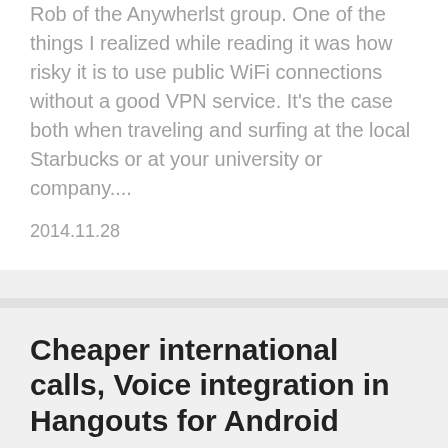Rob of the Anywherlst group. One of the things I realized while reading it was how risky it is to use public WiFi connections without a good VPN service. It's the case both when traveling and surfing at the local Starbucks or at your university or company....
2014.11.28
Cheaper international calls, Voice integration in Hangouts for Android
Over the last couple of days great things have happened for users of Google Voice. First, a couple